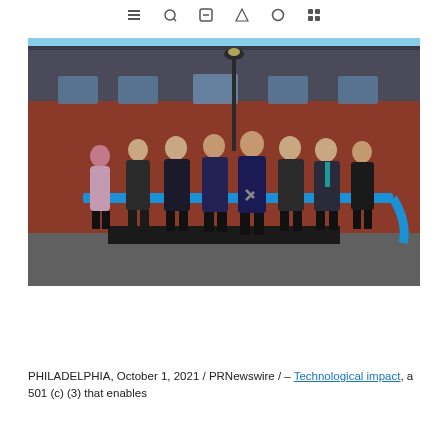navigation icons row
[Figure (photo): Group of approximately nine people standing outdoors in front of a red brick building with a slate roof, holding a blue ribbon at a ribbon-cutting ceremony. A lamp post is visible in the background. The people are dressed in business attire.]
PHILADELPHIA, October 1, 2021 / PRNewswire / – Technological impact, a 501 (c) (3) that enables